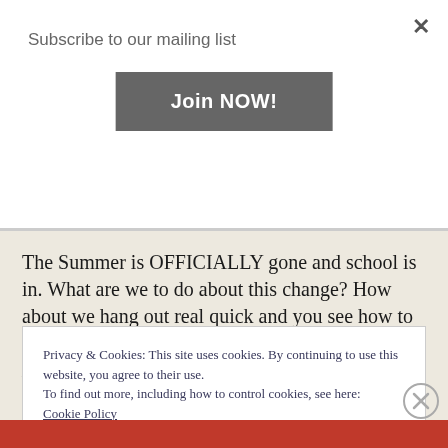Subscribe to our mailing list
Join NOW!
The Summer is OFFICIALLY gone and school is in. What are we to do about this change? How about we hang out real quick and you see how to get cool perks by scrolling our page RIGHT NOW...Like RIGHT NOW?
Privacy & Cookies: This site uses cookies. By continuing to use this website, you agree to their use.
To find out more, including how to control cookies, see here:
Cookie Policy
CLOSE AND ACCEPT